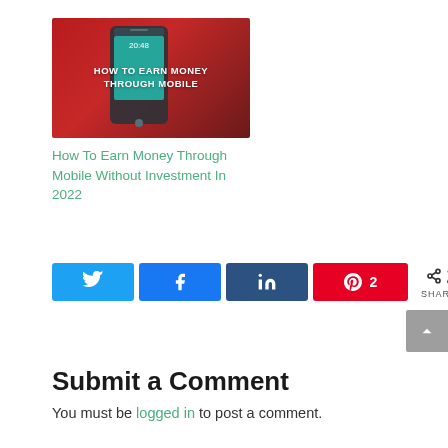[Figure (photo): Thumbnail image of a smartphone on a red background with text 'HOW TO EARN MONEY THROUGH MOBILE']
How To Earn Money Through Mobile Without Investment In 2022
[Figure (infographic): Social share buttons: Twitter, Facebook, LinkedIn, Pinterest (2), and share count showing 2 SHARES]
Submit a Comment
You must be logged in to post a comment.